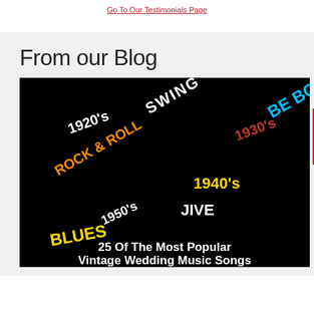Go To Our Testimonials Page
From our Blog
[Figure (illustration): Black background image with colorful text labels of vintage music genres and decades: SWING (white), 1920's (white), ROCK & ROLL (orange), 1930's (red/orange), BE BOP (cyan), JAZZ (red), 1940's (yellow), JIVE (white), BIG BAND (yellow-green), VINTAGE POP (pink, diagonal), 1960's (pink), ROCKABILLY (magenta, diagonal), 1950's (white), BLUES (yellow), RAGTIME (yellow-green), 1940's (yellow). Bottom text reads: '25 Of The Most Popular Vintage Wedding Music Songs' in white bold text.]